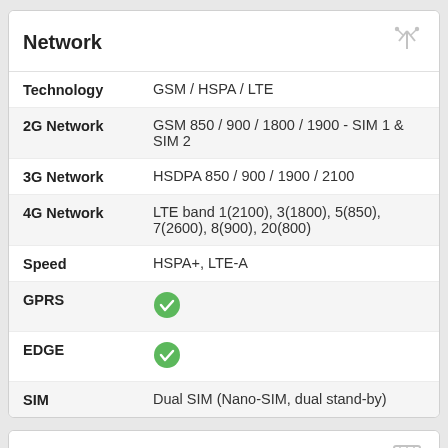Network
| Feature | Value |
| --- | --- |
| Technology | GSM / HSPA / LTE |
| 2G Network | GSM 850 / 900 / 1800 / 1900 - SIM 1 & SIM 2 |
| 3G Network | HSDPA 850 / 900 / 1900 / 2100 |
| 4G Network | LTE band 1(2100), 3(1800), 5(850), 7(2600), 8(900), 20(800) |
| Speed | HSPA+, LTE-A |
| GPRS | ✓ |
| EDGE | ✓ |
| SIM | Dual SIM (Nano-SIM, dual stand-by) |
Performance
| Feature | Value |
| --- | --- |
| Operating | Android 9.0 (Pie) |